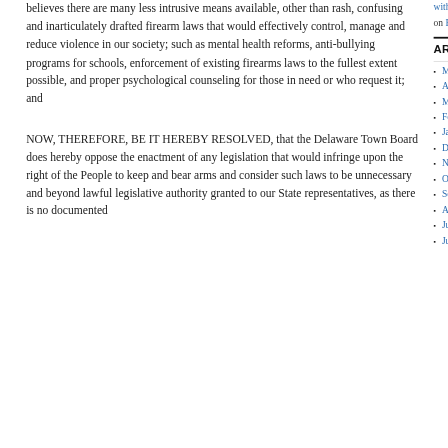believes there are many less intrusive means available, other than rash, confusing and inarticulately drafted firearm laws that would effectively control, manage and reduce violence in our society; such as mental health reforms, anti-bullying programs for schools, enforcement of existing firearms laws to the fullest extent possible, and proper psychological counseling for those in need or who request it; and
NOW, THEREFORE, BE IT HEREBY RESOLVED, that the Delaware Town Board does hereby oppose the enactment of any legislation that would infringe upon the right of the People to keep and bear arms and consider such laws to be unnecessary and beyond lawful legislative authority granted to our State representatives, as there is no documented
with Vestal, NY residents | VASS political blog on Resolutions
ARCHIVES
May 2014
April 2014
March 2014
February 2014
January 2014
December 2013
November 2013
October 2013
September 2013
August 2013
July 2013
June 2013